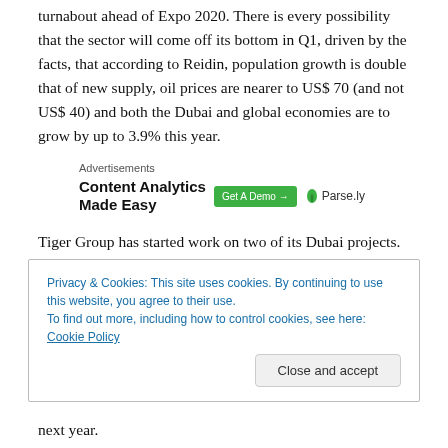turnabout ahead of Expo 2020. There is every possibility that the sector will come off its bottom in Q1, driven by the facts, that according to Reidin, population growth is double that of new supply, oil prices are nearer to US$ 70 (and not US$ 40) and both the Dubai and global economies are to grow by up to 3.9% this year.
[Figure (other): Advertisement banner for Parse.ly: 'Content Analytics Made Easy' with a green 'Get A Demo →' button and Parse.ly logo]
Tiger Group has started work on two of its Dubai projects.
The UAE-based developer expects the 41-floor Q2 Tower
Privacy & Cookies: This site uses cookies. By continuing to use this website, you agree to their use. To find out more, including how to control cookies, see here: Cookie Policy
next year.